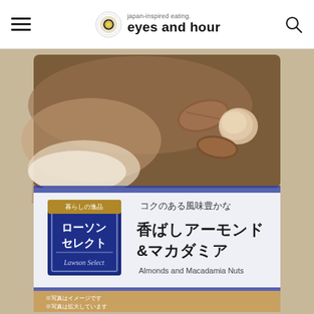[Figure (screenshot): Website header for 'eyes and hour' - japan-inspired eating food blog, with hamburger menu on left, circular logo with tagline and site name in center, search icon on right]
[Figure (photo): Product photo of Lawson Select Almonds and Macadamia Nuts package (香ばしアーモンド＆マカダミア). White packaging with blue label showing Lawson Select branding, Japanese text reading コクのある風味豊かな 香ばしアーモンド＆マカダミア, English subtitle Almonds and Macadamia Nuts, and small brown disclaimer text ※写真はイメージです ※写真は拡大しています]